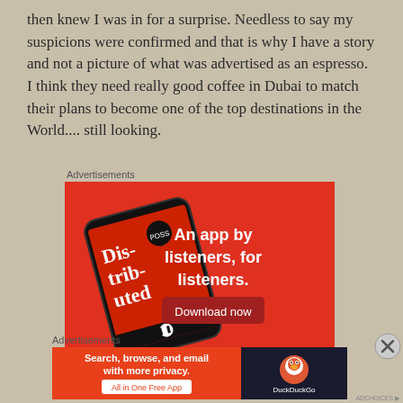then knew I was in for a surprise. Needless to say my suspicions were confirmed and that is why I have a story and not a picture of what was advertised as an espresso. I think they need really good coffee in Dubai to match their plans to become one of the top destinations in the World.... still looking.
Advertisements
[Figure (screenshot): Red advertisement banner for a podcast app showing a smartphone displaying 'Distributed' podcast app with text 'An app by listeners, for listeners.' and a 'Download now' button]
Advertisements
[Figure (screenshot): DuckDuckGo advertisement banner with text 'Search, browse, and email with more privacy. All in One Free App' on orange/red background with DuckDuckGo logo on dark right side]